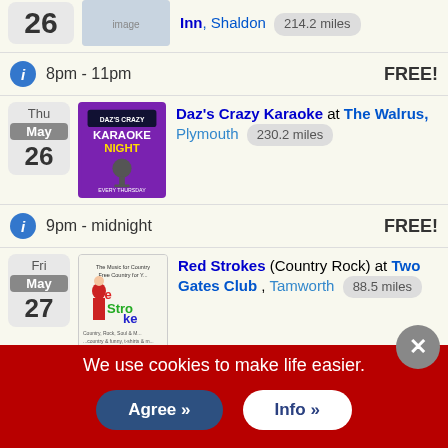Inn, Shaldon 214.2 miles — 8pm - 11pm — FREE!
Daz's Crazy Karaoke at The Walrus, Plymouth 230.2 miles — Thu May 26 — 9pm - midnight — FREE!
Red Strokes (Country Rock) at Two Gates Club, Tamworth 88.5 miles — Fri May 27
We use cookies to make life easier.